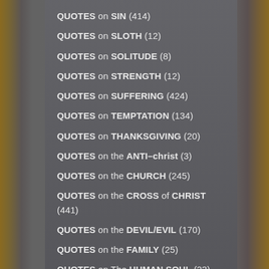QUOTES on SIN (414)
QUOTES on SLOTH (12)
QUOTES on SOLITUDE (8)
QUOTES on STRENGTH (12)
QUOTES on SUFFERING (424)
QUOTES on TEMPTATION (134)
QUOTES on THANKSGIVING (20)
QUOTES on the ANTI-christ (3)
QUOTES on the CHURCH (245)
QUOTES on the CROSS of CHRIST (441)
QUOTES on the DEVIL/EVIL (170)
QUOTES on the FAMILY (25)
QUOTES on The HUMAN SOUL (23)